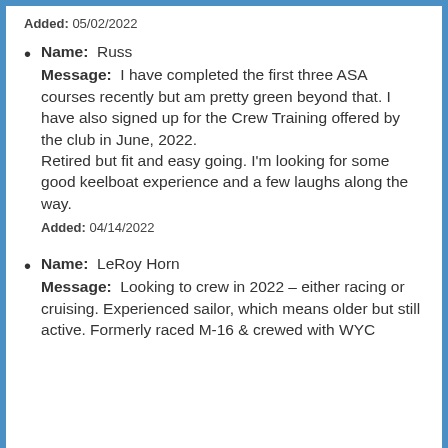Added: 05/02/2022
Name: Russ
Message: I have completed the first three ASA courses recently but am pretty green beyond that. I have also signed up for the Crew Training offered by the club in June, 2022.
Retired but fit and easy going. I'm looking for some good keelboat experience and a few laughs along the way.
Added: 04/14/2022
Name: LeRoy Horn
Message: Looking to crew in 2022 – either racing or cruising. Experienced sailor, which means older but still active. Formerly raced Melges & crewed with WYC...